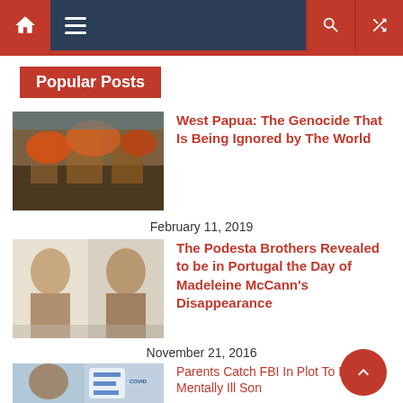Navigation bar with home, menu, search, shuffle icons
Popular Posts
[Figure (photo): Burning village scene — West Papua]
West Papua: The Genocide That Is Being Ignored by The World
February 11, 2019
[Figure (photo): Two men portrait photos — Podesta Brothers]
The Podesta Brothers Revealed to be in Portugal the Day of Madeleine McCann's Disappearance
November 21, 2016
[Figure (photo): Man with COVID vaccine bottles — Michael Yeadon]
Michael Yeadon Interview – Former Pfizer VP Speaks Out On Dangers Of mRNA Vaccines & COVID Illusion
April 11, 2021
[Figure (photo): Person portrait — Parents Catch FBI article]
Parents Catch FBI In Plot To Force Mentally Ill Son